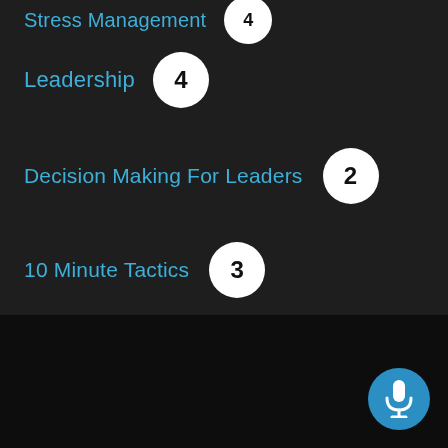Stress Management [number badge cut off]
Leadership 4
Decision Making For Leaders 2
10 Minute Tactics 3
New to the podcast?
Here are some great episodes to start with. Or, check